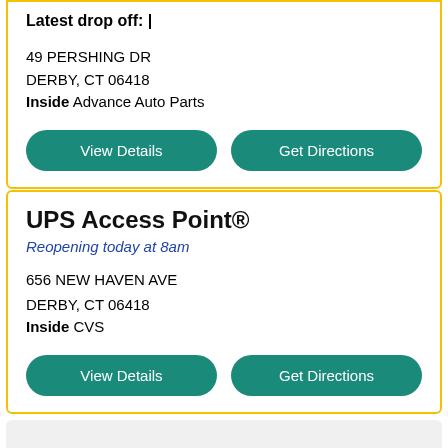Latest drop off: |
49 PERSHING DR
DERBY, CT 06418
Inside Advance Auto Parts
View Details
Get Directions
UPS Access Point®
Reopening today at 8am
656 NEW HAVEN AVE
DERBY, CT 06418
Inside CVS
View Details
Get Directions